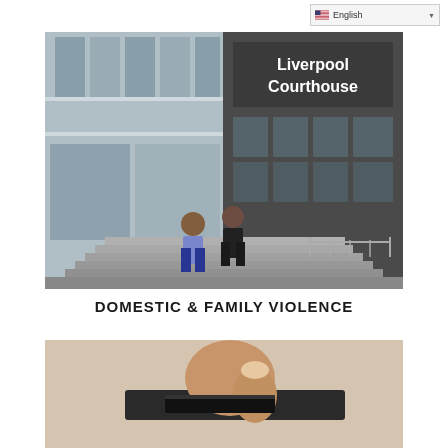English
[Figure (photo): Two people walking up steps toward the Liverpool Courthouse entrance. The building has glass facades on the left and darker brick/concrete on the right with a sign reading 'Liverpool Courthouse'.]
DOMESTIC & FAMILY VIOLENCE
[Figure (photo): Close-up of a hand holding what appears to be a key or card against a dark surface with text partially visible.]